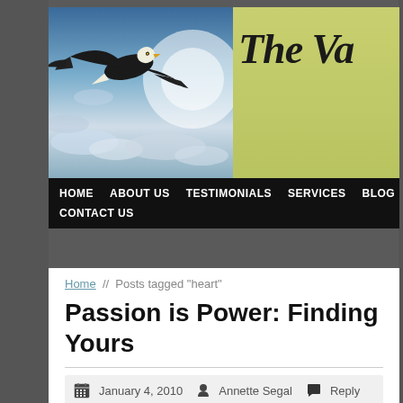[Figure (photo): Website header banner with a bald eagle in flight against a blue cloudy sky on the left, and an olive/yellow-green background on the right with italic text 'The Va' (partially visible) and 'COURAGEOUS CO' (partially visible) subtitle]
HOME   ABOUT US   TESTIMONIALS   SERVICES   BLOG   CONTACT US
Home  //  Posts tagged "heart"
Passion is Power: Finding Yours
January 4, 2010   Annette Segal   Reply
"Are you breathing just a little and calling it a life?" asks Mary